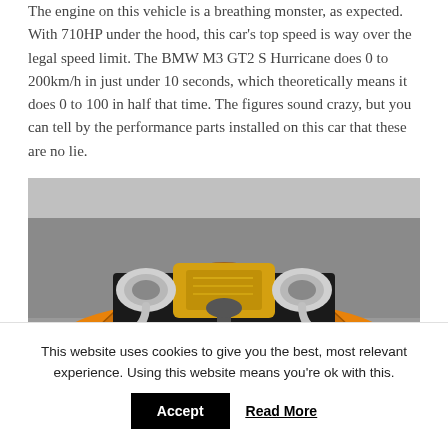The engine on this vehicle is a breathing monster, as expected. With 710HP under the hood, this car's top speed is way over the legal speed limit. The BMW M3 GT2 S Hurricane does 0 to 200km/h in just under 10 seconds, which theoretically means it does 0 to 100 in half that time. The figures sound crazy, but you can tell by the performance parts installed on this car that these are no lie.
[Figure (photo): Orange BMW M3 GT2 S Hurricane with hood open revealing engine bay, viewed from front/above. Engine has yellow cover and large silver intake components.]
This website uses cookies to give you the best, most relevant experience. Using this website means you're ok with this.